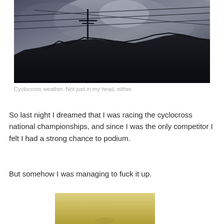[Figure (photo): Outdoor photo of a silhouetted mountain ridge against a dramatic cloudy sky with power lines crossing diagonally]
Cyclocross weather. Not just in my head, either.
So last night I dreamed that I was racing the cyclocross national championships, and since I was the only competitor I felt I had a strong chance to podium.
But somehow I was managing to fuck it up.
[Figure (photo): Partial view of a second photo with yellowish/sepia tones, partially cut off at bottom of page]